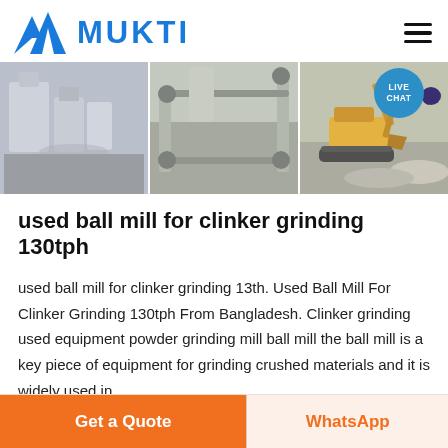[Figure (logo): MUKTI company logo with blue triangular mountain-like icon and blue MUKTI text, plus hamburger menu icon on right]
[Figure (photo): Banner showing three industrial/mining machinery images side by side: grinding mill equipment, conveyor/processing plant, and excavator with crushed stone. Live Chat bubble overlay in top right.]
used ball mill for clinker grinding 130tph
used ball mill for clinker grinding 13th. Used Ball Mill For Clinker Grinding 130tph From Bangladesh. Clinker grinding used equipment powder grinding mill ball mill the ball mill is a key piece of equipment for grinding crushed materials and it is widely used in
Get a Quote   WhatsApp